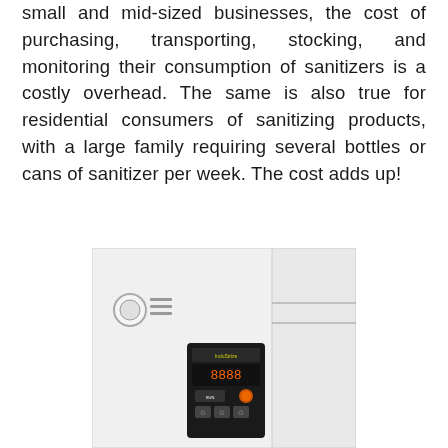small and mid-sized businesses, the cost of purchasing, transporting, stocking, and monitoring their consumption of sanitizers is a costly overhead. The same is also true for residential consumers of sanitizing products, with a large family requiring several bottles or cans of sanitizer per week. The cost adds up!
[Figure (photo): A white wall-mounted sanitizer or water heater unit with a black digital control panel display showing numbers and buttons, and a knob/dial on the left side with ventilation slots.]